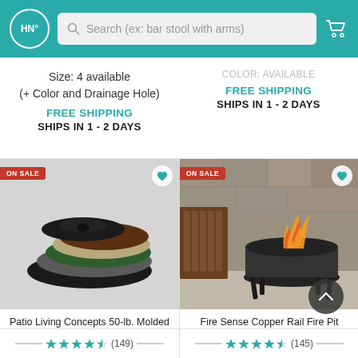HN Search (ex: bar stool with arms)
Size: 4 available
(+ Color and Drainage Hole)
FREE SHIPPING
SHIPS IN 1 - 2 DAYS
Color: available
FREE SHIPPING
SHIPS IN 1 - 2 DAYS
[Figure (photo): Patio Living Concepts 50-lb. Molded Resin Patio Umbrella Base in multiple colors (black, white, green, tan, brown) stacked]
[Figure (photo): Fire Sense Copper Rail Fire Pit with fire burning, shown on a patio with wooden chairs in the background]
Patio Living Concepts 50-lb. Molded Resin Patio Umbrella Base
Fire Sense Copper Rail Fire Pit
(149)
(145)